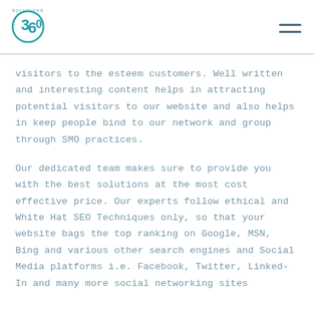[Figure (logo): 360 Solutions circular logo in teal/blue color]
visitors to the esteem customers. Well written and interesting content helps in attracting potential visitors to our website and also helps in keep people bind to our network and group through SMO practices.
Our dedicated team makes sure to provide you with the best solutions at the most cost effective price. Our experts follow ethical and White Hat SEO Techniques only, so that your website bags the top ranking on Google, MSN, Bing and various other search engines and Social Media platforms i.e. Facebook, Twitter, Linked-In and many more social networking sites